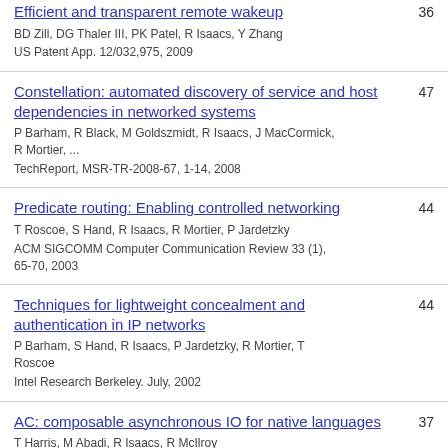Efficient and transparent remote wakeup | BD Zill, DG Thaler III, PK Patel, R Isaacs, Y Zhang | US Patent App. 12/032,975, 2009 | 36
Constellation: automated discovery of service and host dependencies in networked systems | P Barham, R Black, M Goldszmidt, R Isaacs, J MacCormick, R Mortier, ... | TechReport, MSR-TR-2008-67, 1-14, 2008 | 47
Predicate routing: Enabling controlled networking | T Roscoe, S Hand, R Isaacs, R Mortier, P Jardetzky | ACM SIGCOMM Computer Communication Review 33 (1), 65-70, 2003 | 44
Techniques for lightweight concealment and authentication in IP networks | P Barham, S Hand, R Isaacs, P Jardetzky, R Mortier, T Roscoe | Intel Research Berkeley. July, 2002 | 44
AC: composable asynchronous IO for native languages | T Harris, M Abadi, R Isaacs, R McIlroy | ACM SIGPLAN Notices 46 (10), 903-920, 2011 | 37